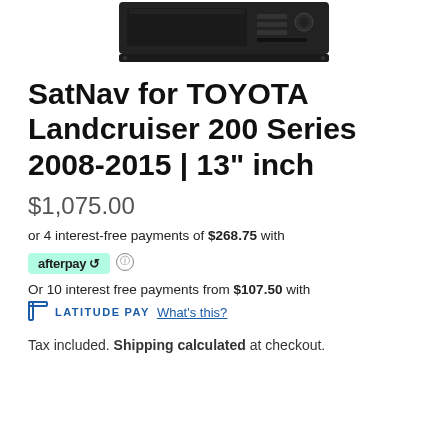[Figure (photo): Partial image of a car SatNav/head unit device (dark colored dashboard unit) shown at the top of the page, cropped.]
SatNav for TOYOTA Landcruiser 200 Series 2008-2015 | 13" inch
$1,075.00
or 4 interest-free payments of $268.75 with
[Figure (logo): Afterpay logo badge in mint green background with afterpay text and curved arrow icon, followed by a small info circle icon]
Or 10 interest free payments from $107.50 with
[Figure (logo): LatitudePay logo - blue bracket icon followed by LATITUDE PAY text in blue capitals, then 'What's this?' underlined link]
Tax included. Shipping calculated at checkout.